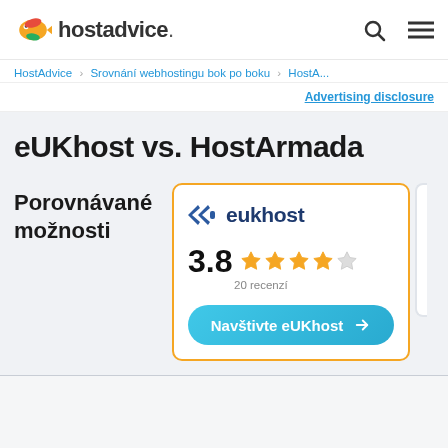hostadvice.
HostAdvice › Srovnání webhostingu bok po boku › HostA...
Advertising disclosure
eUKhost vs. HostArmada
Porovnávané možnosti
[Figure (screenshot): eUKhost product card showing logo, rating 3.8 out of 5 stars with 20 recenzí, and a 'Navštivte eUKhost' call-to-action button]